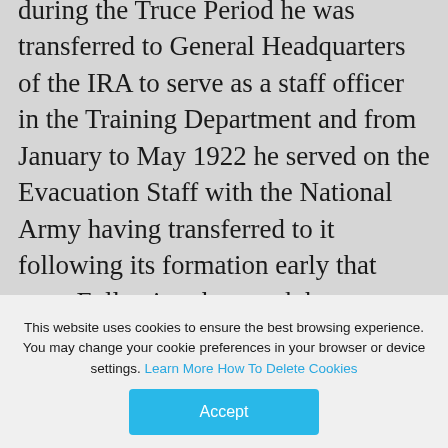during the Truce Period he was transferred to General Headquarters of the IRA to serve as a staff officer in the Training Department and from January to May 1922 he served on the Evacuation Staff with the National Army having transferred to it following its formation early that year. Following the attack by National Army forces on the Four
This website uses cookies to ensure the best browsing experience. You may change your cookie preferences in your browser or device settings. Learn More How To Delete Cookies